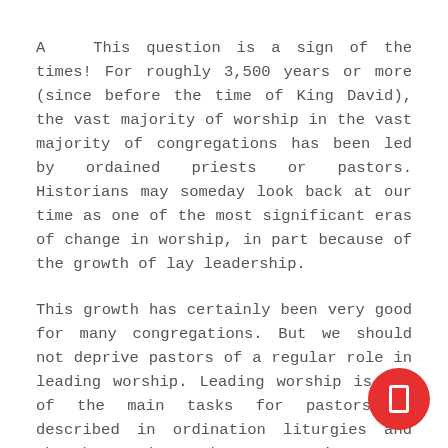A   This question is a sign of the times! For roughly 3,500 years or more (since before the time of King David), the vast majority of worship in the vast majority of congregations has been led by ordained priests or pastors. Historians may someday look back at our time as one of the most significant eras of change in worship, in part because of the growth of lay leadership.
This growth has certainly been very good for many congregations. But we should not deprive pastors of a regular role in leading worship. Leading worship is one of the main tasks for pastors as described in ordination liturgies and church order documents in many denominations. It is commendable both for what it means for worship and for the pastor.
For the sake of worship, it is good to have pastors model aspects of leadership, especially in churches like yours with lots of willing people who simply don't